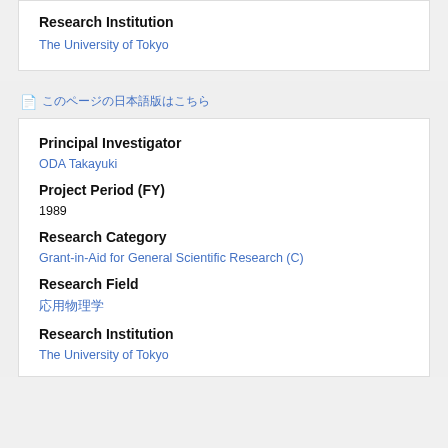Research Institution
The University of Tokyo
（日本語ページ）へ
Principal Investigator
ODA Takayuki
Project Period (FY)
1989
Research Category
Grant-in-Aid for General Scientific Research (C)
Research Field
応用物理学
Research Institution
The University of Tokyo